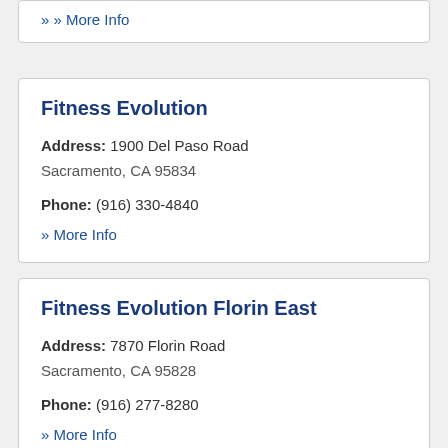» More Info
Fitness Evolution
Address: 1900 Del Paso Road Sacramento, CA 95834
Phone: (916) 330-4840
» More Info
Fitness Evolution Florin East
Address: 7870 Florin Road Sacramento, CA 95828
Phone: (916) 277-8280
» More Info